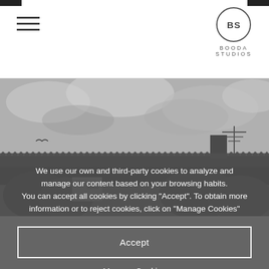BS BOODA STUDIOS (hamburger menu icon, logo)
[Figure (photo): Black and white photograph of a building rooftop with tile roof edges, trees and cloudy sky in the background, and a TV antenna visible on the right]
We use our own and third-party cookies to analyze and manage our content based on your browsing habits. You can accept all cookies by clicking “Accept”. To obtain more information or to reject cookies, click on "Manage Cookies"
Accept
Manage Cookies